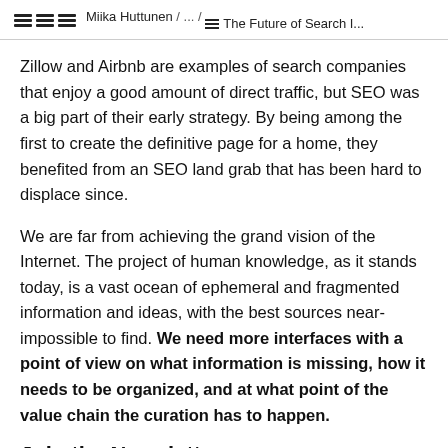Miika Huttunen / ... / The Future of Search I...
Zillow and Airbnb are examples of search companies that enjoy a good amount of direct traffic, but SEO was a big part of their early strategy. By being among the first to create the definitive page for a home, they benefited from an SEO land grab that has been hard to displace since.
We are far from achieving the grand vision of the Internet. The project of human knowledge, as it stands today, is a vast ocean of ephemeral and fragmented information and ideas, with the best sources near-impossible to find. We need more interfaces with a point of view on what information is missing, how it needs to be organized, and at what point of the value chain the curation has to happen.
Join the Newsletter